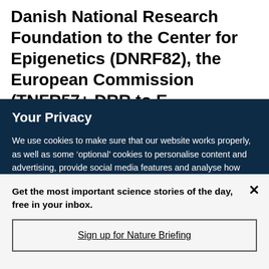Danish National Research Foundation to the Center for Epigenetics (DNRF82), the European Commission (TNFR7+ DRR...
Your Privacy
We use cookies to make sure that our website works properly, as well as some ‘optional’ cookies to personalise content and advertising, provide social media features and analyse how people use our site. By accepting some or all optional cookies you give consent to the processing of your personal data, including transfer to third parties, some in countries outside of the European Economic Area that do not offer the same data protection standards as the country where you live. You can decide which optional cookies to accept by clicking on ‘Manage Settings’, where you can
Get the most important science stories of the day, free in your inbox.
Sign up for Nature Briefing